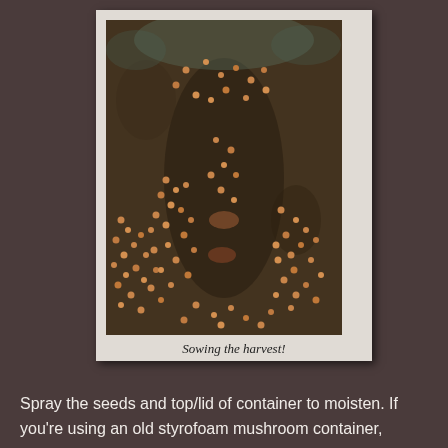[Figure (photo): Close-up photograph of seeds scattered densely over dark soil/growing medium, showing the technique of sowing seeds before covering. The seeds appear small, round, and light orange/tan colored against the dark substrate.]
Sowing the harvest!
Spray the seeds and top/lid of container to moisten.  If you're using an old styrofoam mushroom container,